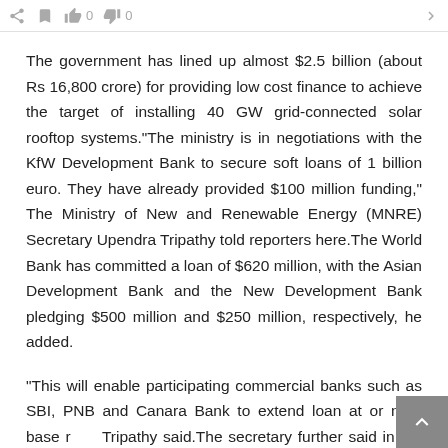The government has lined up almost $2.5 billion (about Rs 16,800 crore) for providing low cost finance to achieve the target of installing 40 GW grid-connected solar rooftop systems.“The ministry is in negotiations with the KfW Development Bank to secure soft loans of 1 billion euro. They have already provided $100 million funding,” The Ministry of New and Renewable Energy (MNRE) Secretary Upendra Tripathy told reporters here.The World Bank has committed a loan of $620 million, with the Asian Development Bank and the New Development Bank pledging $500 million and $250 million, respectively, he added.
“This will enable participating commercial banks such as SBI, PNB and Canara Bank to extend loan at or near base r... Tripathy said.The secretary further said in the current fiscal,